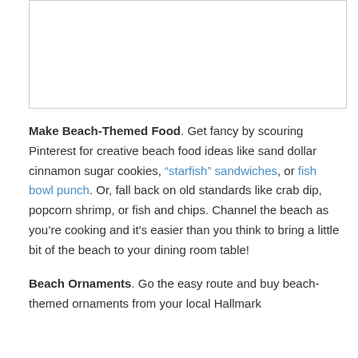[Figure (other): Blank white image placeholder with border]
Make Beach-Themed Food. Get fancy by scouring Pinterest for creative beach food ideas like sand dollar cinnamon sugar cookies, "starfish" sandwiches, or fish bowl punch. Or, fall back on old standards like crab dip, popcorn shrimp, or fish and chips. Channel the beach as you’re cooking and it's easier than you think to bring a little bit of the beach to your dining room table!
Beach Ornaments. Go the easy route and buy beach-themed ornaments from your local Hallmark